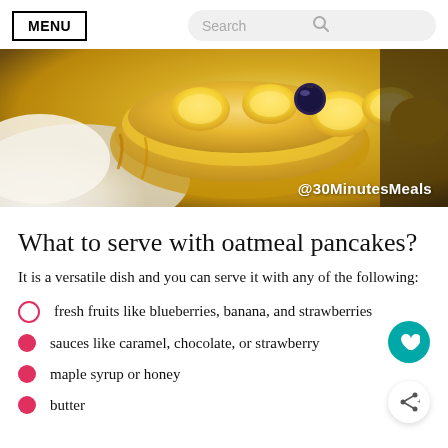MENU | Search
[Figure (photo): Close-up photo of oatmeal pancakes with banana slices and a blueberry on top, with whipped cream visible. Watermark reads @30MinutesMeals.]
What to serve with oatmeal pancakes?
It is a versatile dish and you can serve it with any of the following:
fresh fruits like blueberries, banana, and strawberries
sauces like caramel, chocolate, or strawberry
maple syrup or honey
butter